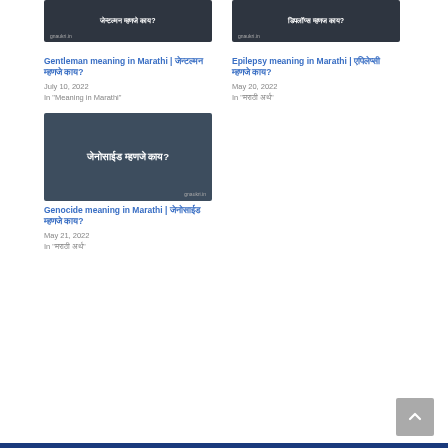[Figure (screenshot): Dark background card with Devanagari text 'जेन्टल्मन म्हणजे काय?' and domain gnaukri.in]
Gentleman meaning in Marathi | जेन्टल्मन म्हणजे काय?
July 10, 2022
In "Meaning in Marathi"
[Figure (screenshot): Dark background card with Devanagari text 'डिपलॉप्स म्हणज काय?' and domain gnaukri.in]
Epilepsy meaning in Marathi | एपिलेप्सी म्हणजे काय?
May 20, 2022
In "मराठी अर्थ"
[Figure (screenshot): Dark slate background card with Devanagari text 'जेनोसाईड म्हणजे काय?' in white bold and domain gnaukri.in]
Genocide meaning in Marathi | जेनोसाईड म्हणजे काय?
May 21, 2022
In "मराठी अर्थ"